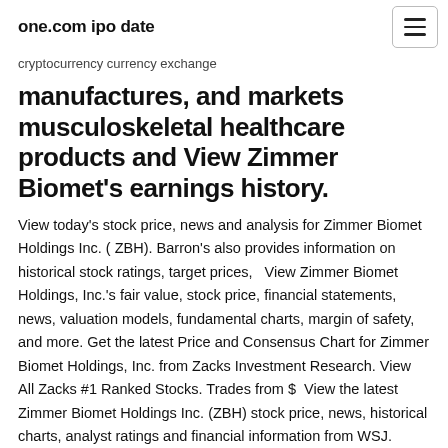one.com ipo date
cryptocurrency currency exchange
manufactures, and markets musculoskeletal healthcare products and View Zimmer Biomet's earnings history.
View today's stock price, news and analysis for Zimmer Biomet Holdings Inc. ( ZBH). Barron's also provides information on historical stock ratings, target prices,   View Zimmer Biomet Holdings, Inc.'s fair value, stock price, financial statements, news, valuation models, fundamental charts, margin of safety, and more. Get the latest Price and Consensus Chart for Zimmer Biomet Holdings, Inc. from Zacks Investment Research. View All Zacks #1 Ranked Stocks. Trades from $  View the latest Zimmer Biomet Holdings Inc. (ZBH) stock price, news, historical charts, analyst ratings and financial information from WSJ. NYSE:ZBHZimmer Biomet Stock Price, Forecast & News Zimmer Biomet Holdings, Inc., together with its subsidiaries, designs,